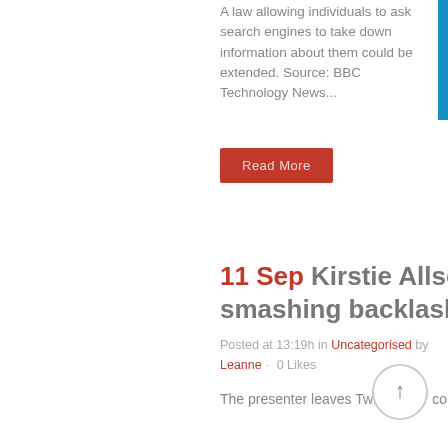A law allowing individuals to ask search engines to take down information about them could be extended. Source: BBC Technology News...
Read More
11 Sep Kirstie Allsopp leaves Twitter over iPad smashing backlash
Posted at 13:19h in Uncategorised by Leanne · 0 Likes
The presenter leaves Twitter after coming under fire when revealing she smashed